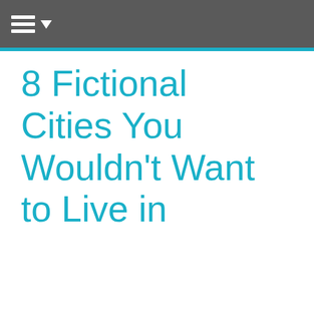☰ ▾
8 Fictional Cities You Wouldn't Want to Live in